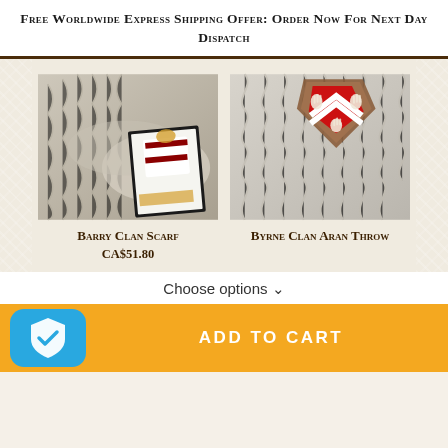Free Worldwide Express Shipping Offer: Order Now For Next Day Dispatch
[Figure (photo): Barry Clan Scarf product photo showing a cream-colored cable-knit scarf with a clan crest card]
Barry Clan Scarf
CA$51.80
[Figure (photo): Byrne Clan Aran Throw product photo showing cream cable-knit fabric with a red heraldic shield plaque]
Byrne Clan Aran Throw
Choose options ∨
ADD TO CART